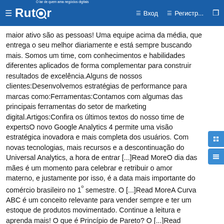Rutor | Вход | Регистр...
maior ativo são as pessoas! Uma equipe acima da média, que entrega o seu melhor diariamente e está sempre buscando mais. Somos um time, com conhecimentos e habilidades diferentes aplicados de forma complementar para construir resultados de excelência.Alguns de nossos clientes:Desenvolvemos estratégias de performance para marcas como:Ferramentas:Contamos com algumas das principais ferramentas do setor de marketing digital.Artigos:Confira os últimos textos do nosso time de expertsO novo Google Analytics 4 permite uma visão estratégica inovadora e mais completa dos usuários. Com novas tecnologias, mais recursos e a descontinuação do Universal Analytics, a hora de entrar [...]Read MoreO dia das mães é um momento para celebrar e retribuir o amor materno, e justamente por isso, é a data mais importante do comércio brasileiro no 1º semestre. O [...]Read MoreA Curva ABC é um conceito relevante para vender sempre e ter um estoque de produtos movimentado. Continue a leitura e aprenda mais! O que é Princípio de Pareto? O [...]Read More1234Next ›Last